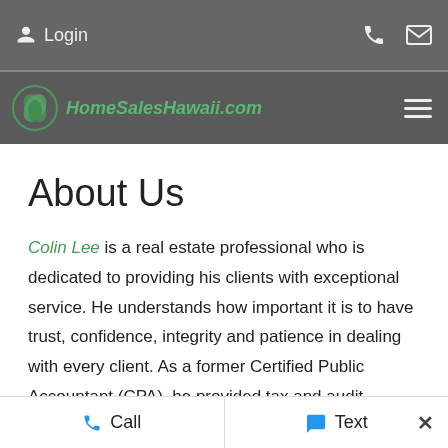Login
HomeSalesHawaii.com
About Us
Colin Lee is a real estate professional who is dedicated to providing his clients with exceptional service. He understands how important it is to have trust, confidence, integrity and patience in dealing with every client. As a former Certified Public Accountant (CPA), he provided tax and audit services to a wide range of clients, including escrow and real estate development companies. His
Call   Text